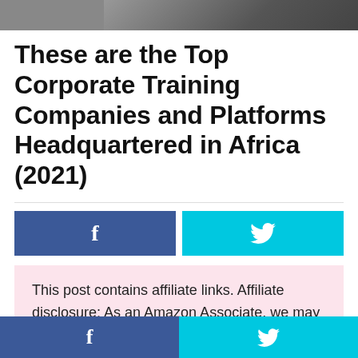[Figure (photo): Partial photo strip at top of page showing people, cropped]
These are the Top Corporate Training Companies and Platforms Headquartered in Africa (2021)
[Figure (infographic): Social share buttons: Facebook (blue) and Twitter (cyan)]
This post contains affiliate links. Affiliate disclosure: As an Amazon Associate, we may earn commissions from qualifying purchases
[Figure (infographic): Footer social share buttons: Facebook (blue) and Twitter (cyan)]